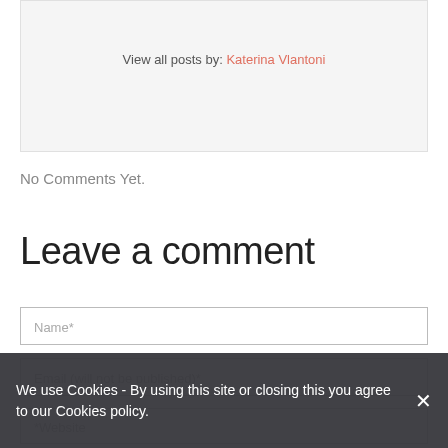View all posts by: Katerina Vlantoni
No Comments Yet.
Leave a comment
Name*
Email (will not be published)*
*Website
We use Cookies - By using this site or closing this you agree to our Cookies policy.